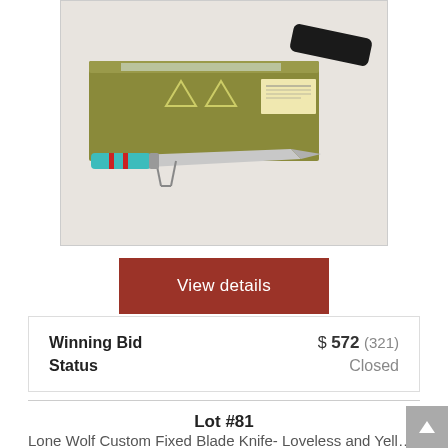[Figure (photo): A knife with turquoise/red wrapped handle displayed on a stand, with a black case/sheath and olive-colored box packaging with a label card.]
View details
| Winning Bid | $ 572 (321) |
| Status | Closed |
Lot #81
Lone Wolf Custom Fixed Blade Knife- Loveless and Yellowho…